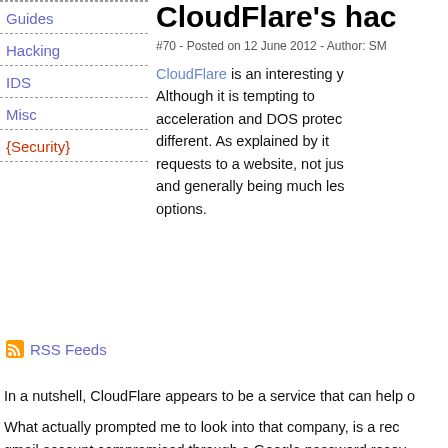Guides
Hacking
IDS
Misc
{Security}
RSS Feeds
CloudFlare's hac
#70 - Posted on 12 June 2012 - Author: SM
CloudFlare is an interesting y Although it is tempting to acceleration and DOS protec different. As explained by it requests to a website, not jus and generally being much les options.
In a nutshell, CloudFlare appears to be a service that can help o
What actually prompted me to look into that company, is a rec gmail account compromised through a Google password recov